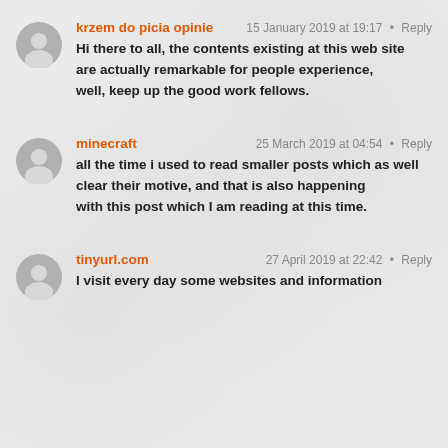krzem do picia opinie — 15 January 2019 at 19:17 • Reply
Hi there to all, the contents existing at this web site are actually remarkable for people experience, well, keep up the good work fellows.
minecraft — 25 March 2019 at 04:54 • Reply
all the time i used to read smaller posts which as well clear their motive, and that is also happening with this post which I am reading at this time.
tinyurl.com — 27 April 2019 at 22:42 • Reply
I visit every day some websites and information